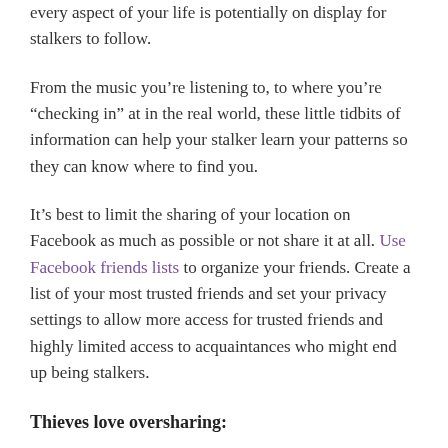every aspect of your life is potentially on display for stalkers to follow.
From the music you’re listening to, to where you’re “checking in” at in the real world, these little tidbits of information can help your stalker learn your patterns so they can know where to find you.
It’s best to limit the sharing of your location on Facebook as much as possible or not share it at all. Use Facebook friends lists to organize your friends. Create a list of your most trusted friends and set your privacy settings to allow more access for trusted friends and highly limited access to acquaintances who might end up being stalkers.
Thieves love oversharing: